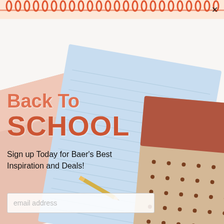[Figure (photo): Back to school promotional popup with spiral notebook top bar, colorful overlapping notebooks/notepads in light blue, peach/pink, and tan with polka dots arranged diagonally on white background]
Back To SCHOOL
Sign up Today for Baer's Best Inspiration and Deals!
email address